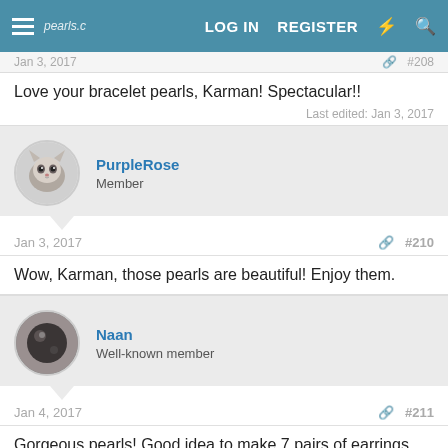LOG IN  REGISTER
Jan 3, 2017   #208
Love your bracelet pearls, Karman! Spectacular!!
Last edited: Jan 3, 2017
PurpleRose
Member
Jan 3, 2017   #210
Wow, Karman, those pearls are beautiful! Enjoy them.
Naan
Well-known member
Jan 4, 2017   #211
Gorgeous pearls! Good idea to make 7 pairs of earrings and wear every day of the week Amazing choice of color and form!